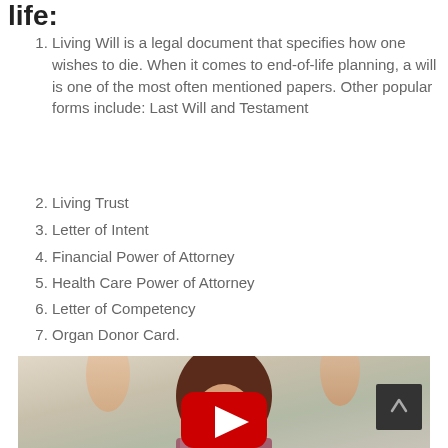life:
Living Will is a legal document that specifies how one wishes to die. When it comes to end-of-life planning, a will is one of the most often mentioned papers. Other popular forms include: Last Will and Testament
Living Trust
Letter of Intent
Financial Power of Attorney
Health Care Power of Attorney
Letter of Competency
Organ Donor Card.
[Figure (photo): A woman with curly brown hair raising both hands, with a red YouTube play button overlay in the center of the image. A dark scroll-up button appears in the lower-right corner.]